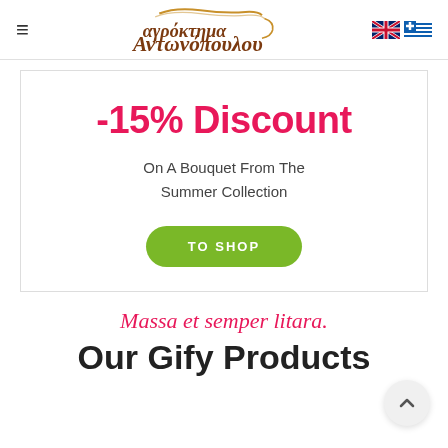≡ Αγρόκτημα Αντωνόπουλου [EN/GR flags]
[Figure (infographic): Promotional banner with -15% Discount offer on a bouquet from the summer collection with a green TO SHOP button]
-15% Discount
On A Bouquet From The Summer Collection
TO SHOP
Massa et semper litara.
Our Gify Products